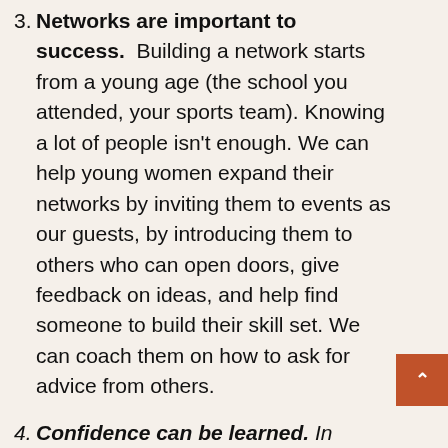3. Networks are important to success. Building a network starts from a young age (the school you attended, your sports team). Knowing a lot of people isn't enough. We can help young women expand their networks by inviting them to events as our guests, by introducing them to others who can open doors, give feedback on ideas, and help find someone to build their skill set. We can coach them on how to ask for advice from others.
4. Confidence can be learned. In